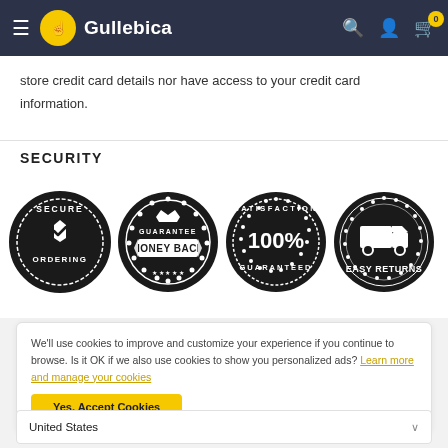Gullebica
store credit card details nor have access to your credit card information.
SECURITY
[Figure (illustration): Four security trust badges in a row: Secure Ordering (shield with checkmark), Money Back Guarantee, 100% Satisfaction Guaranteed, Easy Returns (truck icon)]
We'll use cookies to improve and customize your experience if you continue to browse. Is it OK if we also use cookies to show you personalized ads? Learn more and manage your cookies
Yes, Accept Cookies
United States